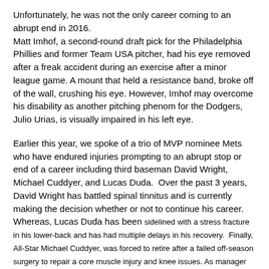Unfortunately, he was not the only career coming to an abrupt end in 2016. Matt Imhof, a second-round draft pick for the Philadelphia Phillies and former Team USA pitcher, had his eye removed after a freak accident during an exercise after a minor league game. A mount that held a resistance band, broke off of the wall, crushing his eye. However, Imhof may overcome his disability as another pitching phenom for the Dodgers, Julio Urias, is visually impaired in his left eye.
Earlier this year, we spoke of a trio of MVP nominee Mets who have endured injuries prompting to an abrupt stop or end of a career including third baseman David Wright, Michael Cuddyer, and Lucas Duda. Over the past 3 years, David Wright has battled spinal tinnitus and is currently making the decision whether or not to continue his career. Whereas, Lucas Duda has been sidelined with a stress fracture in his lower-back and has had multiple delays in his recovery. Finally, All-Star Michael Cuddyer, was forced to retire after a failed off-season surgery to repair a core muscle injury and knee issues. As manager Terry Collins stated, "A manager's worst nightmare is to see their star start to fade away."